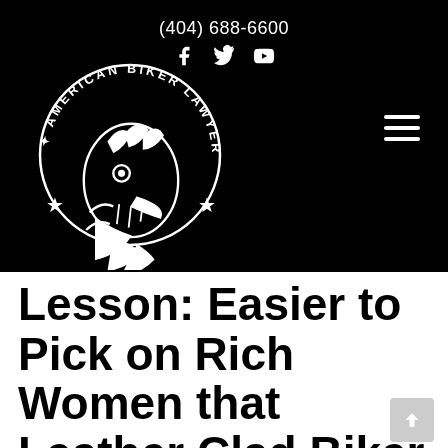(404) 688-6600
[Figure (logo): American Biker Lawyer .com circular logo with eagle head and stars, white on black background]
Lesson: Easier to Pick on Rich Women that Leather Clad Biker